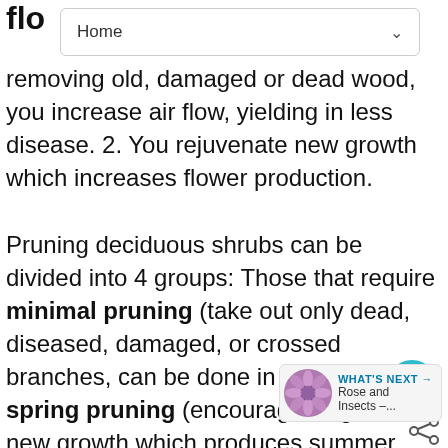flo
Home
removing old, damaged or dead wood, you increase air flow, yielding in less disease. 2. You rejuvenate new growth which increases flower production.
Pruning deciduous shrubs can be divided into 4 groups: Those that require minimal pruning (take out only dead, diseased, damaged, or crossed branches, can be done in early spring.); spring pruning (encourages vigorous, new growth which produces summer flowers - in other words, flowers appear on new wood); summer pruning after flower (after flowering, cut back shoots, and take out some of the old growth, down to the suckering habit pruning (flowers appear on
[Figure (other): Heart/favorite button (teal circle with heart icon) and share icon overlay on the right side of the page]
[Figure (other): What's Next widget showing a flower photo with text 'Rose and Insects -...']